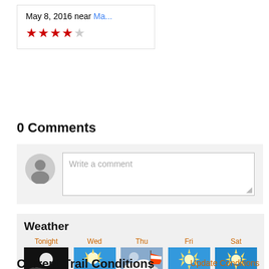May 8, 2016 near Ma...
[Figure (other): 3.5 out of 5 star rating with red filled stars]
0 Comments
[Figure (screenshot): Comment input area with user avatar and text field saying 'Write a comment']
Weather
[Figure (infographic): 5-day weather forecast: Tonight 48F night/clouds, Wed 80F/53F sunny, Thu 79F/48F windy, Fri 79F/51F sunny, Sat 83F/52F sunny]
Current Trail Conditions
Update Conditions